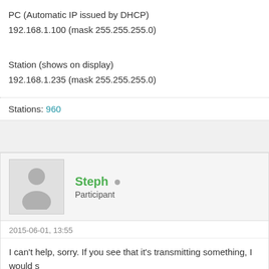PC (Automatic IP issued by DHCP)
192.168.1.100 (mask 255.255.255.0)
Station (shows on display)
192.168.1.235 (mask 255.255.255.0)
Stations: 960
Steph
Participant
2015-06-01, 13:55
I can't help, sorry. If you see that it's transmitting something, I would s But maybe someone else has a better idea.
Stations: 233